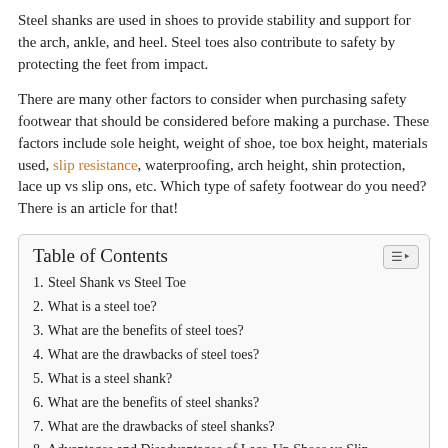Steel shanks are used in shoes to provide stability and support for the arch, ankle, and heel. Steel toes also contribute to safety by protecting the feet from impact.
There are many other factors to consider when purchasing safety footwear that should be considered before making a purchase. These factors include sole height, weight of shoe, toe box height, materials used, slip resistance, waterproofing, arch height, shin protection, lace up vs slip ons, etc. Which type of safety footwear do you need? There is an article for that!
Table of Contents
1. Steel Shank vs Steel Toe
2. What is a steel toe?
3. What are the benefits of steel toes?
4. What are the drawbacks of steel toes?
5. What is a steel shank?
6. What are the benefits of steel shanks?
7. What are the drawbacks of steel shanks?
8. Advantages and Disadvantages of Lace-Up Shoes vs Slip-